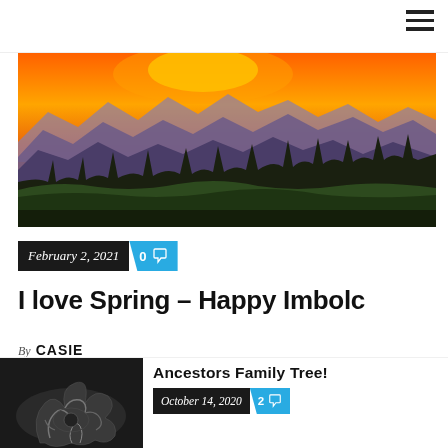navigation hamburger menu
[Figure (photo): Landscape panorama photo of mountain silhouettes at sunset with orange and yellow sky gradient, purple layered mountains, and dark pine trees in the foreground on green hills]
February 2, 2021  0 [comment icon]
I love Spring – Happy Imbolc
By CASIE
As a gardener, I am always happy to greet spring. Where I live spring is in full seeing by this...
[Figure (photo): Black and white photo of intertwined tree roots forming an organic pattern resembling a face or figure]
Ancestors Family Tree!
October 14, 2020  2 [comment icon]